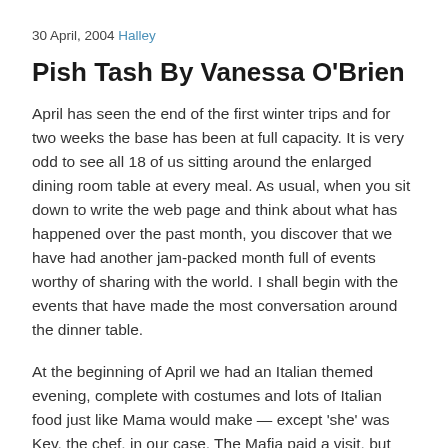30 April, 2004 Halley
Pish Tash By Vanessa O'Brien
April has seen the end of the first winter trips and for two weeks the base has been at full capacity. It is very odd to see all 18 of us sitting around the enlarged dining room table at every meal. As usual, when you sit down to write the web page and think about what has happened over the past month, you discover that we have had another jam-packed month full of events worthy of sharing with the world. I shall begin with the events that have made the most conversation around the dinner table.
At the beginning of April we had an Italian themed evening, complete with costumes and lots of Italian food just like Mama would make — except 'she' was Kev, the chef, in our case. The Mafia paid a visit, but were very well behaved and didn't cause any trouble in our peaceful home. The women resided in the kitchen to eat, so that the men could discuss important political issues over their polenta.